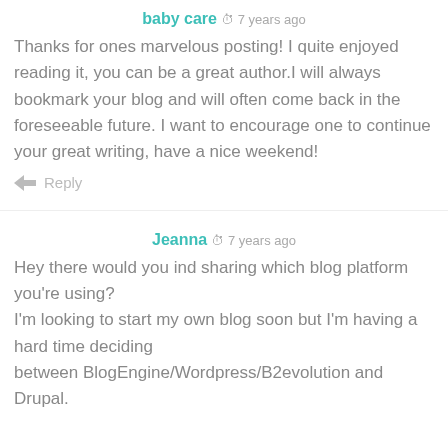baby care  7 years ago
Thanks for ones marvelous posting! I quite enjoyed reading it, you can be a great author.I will always bookmark your blog and will often come back in the foreseeable future. I want to encourage one to continue your great writing, have a nice weekend!
Reply
Jeanna  7 years ago
Hey there would you ind sharing which blog platform you're using? I'm looking to start my own blog soon but I'm having a hard time deciding between BlogEngine/Wordpress/B2evolution and Drupal.